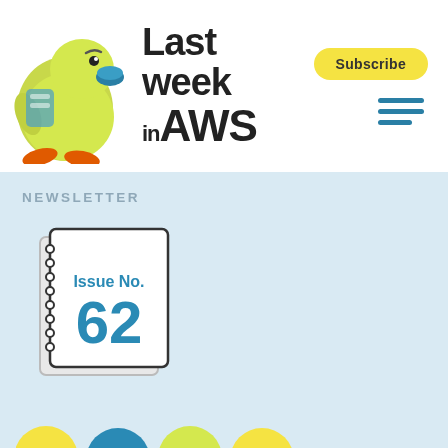[Figure (logo): Last Week in AWS logo with cartoon duck illustration and bold text 'Last week in AWS']
NEWSLETTER
[Figure (illustration): Notebook icon showing Issue No. 62 in teal/blue color]
EKScuse me a second...
06.11.2018